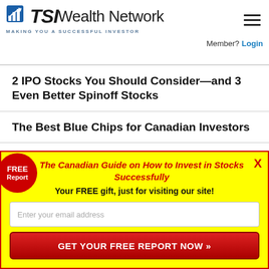TSI Wealth Network — MAKING YOU A SUCCESSFUL INVESTOR
Member? Login
2 IPO Stocks You Should Consider—and 3 Even Better Spinoff Stocks
The Best Blue Chips for Canadian Investors
The ETF Investor's Handbook
[Figure (infographic): Yellow popup with red border and FREE Report badge. Title: The Canadian Guide on How to Invest in Stocks Successfully. Subtitle: Your FREE gift, just for visiting our site! Email input field and red CTA button: GET YOUR FREE REPORT NOW »]